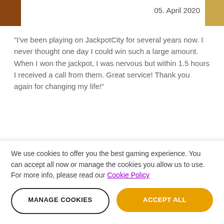05. April 2020
"I've been playing on JackpotCity for several years now. I never thought one day I could win such a large amount.  When I won the jackpot, I was nervous but within 1.5 hours I received a call from them. Great service! Thank you again for changing my life!"
RECENT POSTS
We use cookies to offer you the best gaming experience. You can accept all now or manage the cookies you allow us to use. For more info, please read our Cookie Policy
MANAGE COOKIES
ACCEPT ALL